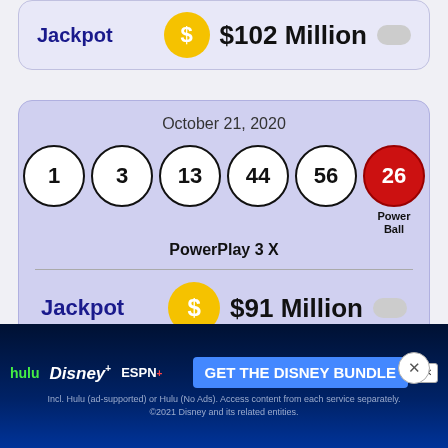Jackpot  $102 Million
October 21, 2020
1  3  13  44  56  26 (Power Ball)
PowerPlay 3 X
Jackpot  $91 Million
October 17, 2020
[Figure (screenshot): Hulu Disney+ ESPN+ GET THE DISNEY BUNDLE advertisement banner. Incl. Hulu (ad-supported) or Hulu (No Ads). Access content from each service separately. ©2021 Disney and its related entities.]